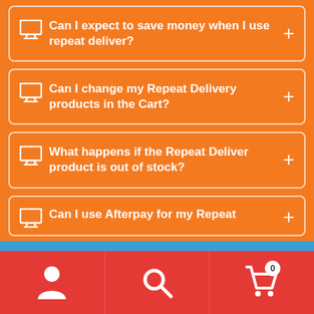Can I expect to save money when I use repeat deliver?
Can I change my Repeat Delivery products in the Cart?
What happens if the Repeat Deliver product is out of stock?
Can I use Afterpay for my Repeat...
Happy shopping!
Dismiss